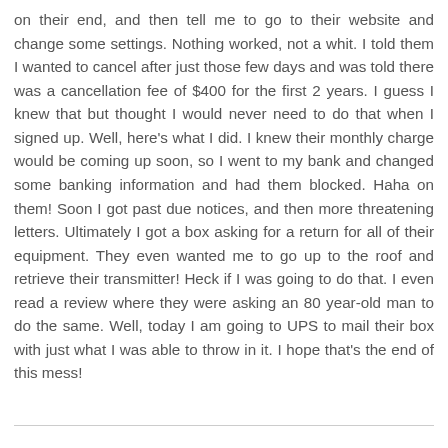on their end, and then tell me to go to their website and change some settings. Nothing worked, not a whit. I told them I wanted to cancel after just those few days and was told there was a cancellation fee of $400 for the first 2 years. I guess I knew that but thought I would never need to do that when I signed up. Well, here's what I did. I knew their monthly charge would be coming up soon, so I went to my bank and changed some banking information and had them blocked. Haha on them! Soon I got past due notices, and then more threatening letters. Ultimately I got a box asking for a return for all of their equipment. They even wanted me to go up to the roof and retrieve their transmitter! Heck if I was going to do that. I even read a review where they were asking an 80 year-old man to do the same. Well, today I am going to UPS to mail their box with just what I was able to throw in it. I hope that's the end of this mess!